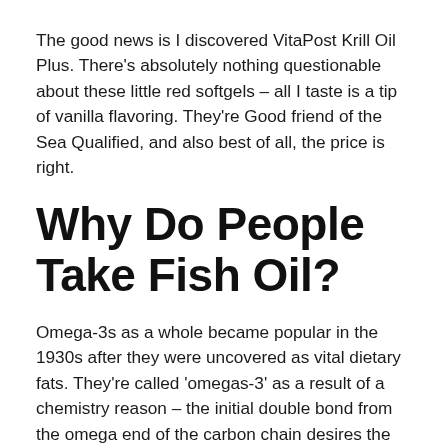The good news is I discovered VitaPost Krill Oil Plus. There's absolutely nothing questionable about these little red softgels – all I taste is a tip of vanilla flavoring. They're Good friend of the Sea Qualified, and also best of all, the price is right.
Why Do People Take Fish Oil?
Omega-3s as a whole became popular in the 1930s after they were uncovered as vital dietary fats. They're called 'omegas-3' as a result of a chemistry reason – the initial double bond from the omega end of the carbon chain desires the third carbon …